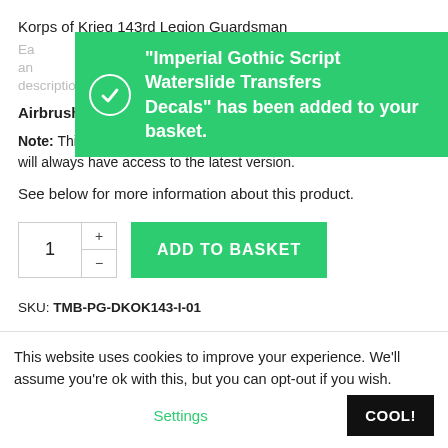Korps of Krieg 143rd Legion Guardsman
Each ... and ... descriptions of techniques are clearly explained in detail.
[Figure (screenshot): Green toast notification banner: checkmark icon in circle, text reading: "Imperial Gothic Script Waterslide Transfers Decals" has been added to your basket.]
Airbrush optional.
Note: This guide will be updated with FAQs / Errata. Customers will always have access to the latest version.
See below for more information about this product.
1  +  -  ADD TO BASKET
SKU: TMB-PG-DKOK143-I-01
This website uses cookies to improve your experience. We'll assume you're ok with this, but you can opt-out if you wish. Settings  COOL!